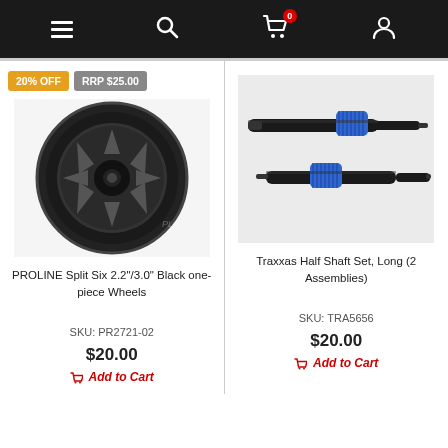Navigation bar with menu, search, cart (0 items), and user account icons
[Figure (photo): PROLINE Split Six 2.2"/3.0" Black one-piece Wheels product image showing a black wheel from front view]
20% OFF  RRP $25.00
PROLINE Split Six 2.2"/3.0" Black one-piece Wheels
SKU: PR2721-02
$20.00
Add to Cart
[Figure (photo): Traxxas Half Shaft Set, Long (2 Assemblies) product image showing two black metal shafts with blue connectors]
Traxxas Half Shaft Set, Long (2 Assemblies)
SKU: TRA5656
$20.00
Add to Cart